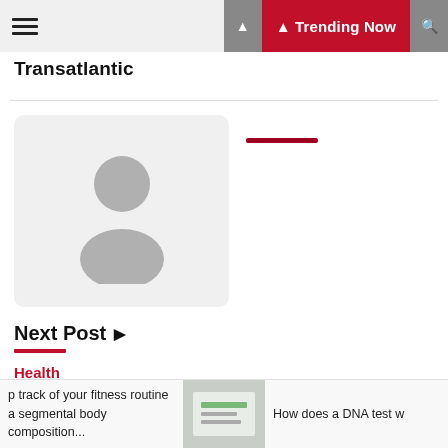Transatlantic | Trending Now
[Figure (photo): Author avatar placeholder - grey silhouette on light background]
Next Post
Health
19 Money-Saving Secrets Target Doesn't Want You To Know
p track of your fitness routine a segmental body composition... | How does a DNA test w